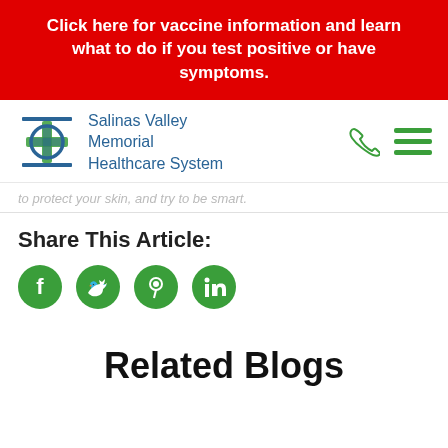Click here for vaccine information and learn what to do if you test positive or have symptoms.
[Figure (logo): Salinas Valley Memorial Healthcare System logo with blue cross icon and text]
to protect your skin, and try to be smart.
Share This Article:
[Figure (infographic): Social media share icons: Facebook, Twitter, Pinterest, LinkedIn - green circles]
Related Blogs